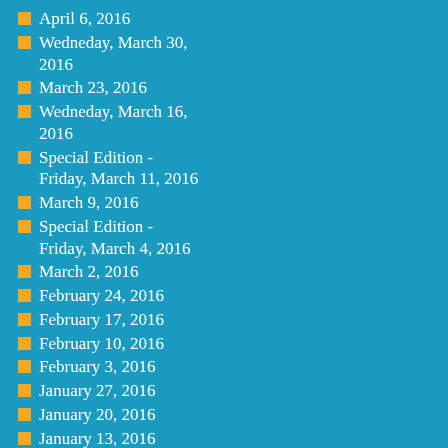April 6, 2016
Wedneday, March 30, 2016
March 23, 2016
Wedneday, March 16, 2016
Special Edition - Friday, March 11, 2016
March 9, 2016
Special Edition - Friday, March 4, 2016
March 2, 2016
February 24, 2016
February 17, 2016
February 10, 2016
February 3, 2016
January 27, 2016
January 20, 2016
January 13, 2016
January 6, 2016
December 30, 2015
December 23, 2015
December 16, 2015
December 9, 2015
December 2, 2015
November 25, 2015
Thursday, November 19, 2015